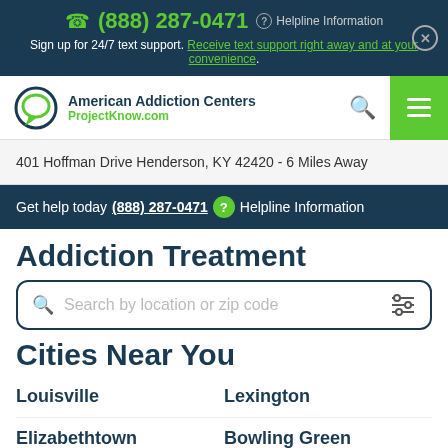(888) 287-0471  Helpline Information
Sign up for 24/7 text support. Receive text support right away and at your convenience.
[Figure (logo): American Addiction Centers ProjectKnow.com logo with speech bubble icon]
401 Hoffman Drive Henderson, KY 42420 - 6 Miles Away
Get help today (888) 287-0471  Helpline Information
Addiction Treatment
Search by location or zip code
Cities Near You
Louisville
Lexington
Elizabethtown
Bowling Green
Prestonsburg
Owensboro